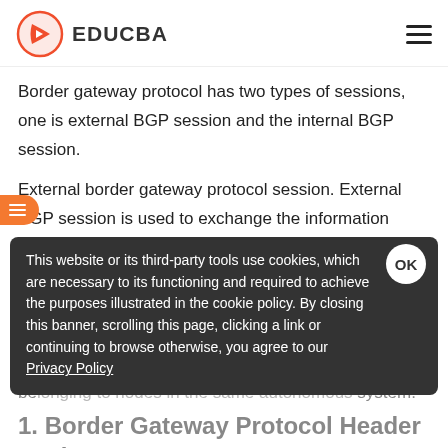EDUCBA
Border gateway protocol has two types of sessions, one is external BGP session and the internal BGP session.
External border gateway protocol session. External BGP session is used to exchange the information between two user nodes belonging to two different autonomous system. Internal border gateway protocol session:
This website or its third-party tools use cookies, which are necessary to its functioning and required to achieve the purposes illustrated in the cookie policy. By closing this banner, scrolling this page, clicking a link or continuing to browse otherwise, you agree to our Privacy Policy
1. Border Gateway Protocol Header Packet
All BGP packets share the same common header. Fields